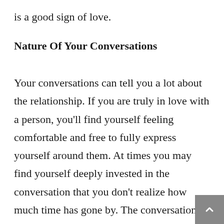is a good sign of love.
Nature Of Your Conversations
Your conversations can tell you a lot about the relationship. If you are truly in love with a person, you’ll find yourself feeling comfortable and free to fully express yourself around them. At times you may find yourself deeply invested in the conversation that you don’t realize how much time has gone by. The conversation also includes all kinds of topics including funny ones, intimate ones, personal interests, life goals, and others.